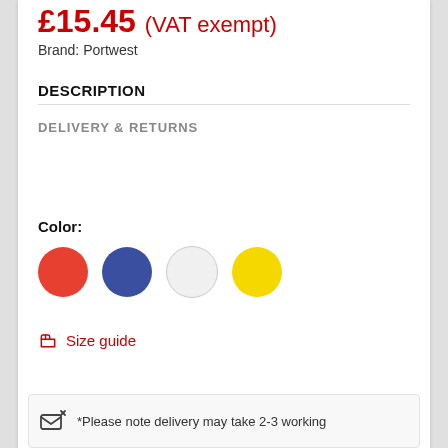£15.45 (VAT exempt)
Brand: Portwest
DESCRIPTION
DELIVERY & RETURNS
Color:
[Figure (illustration): Four color swatches in a row: red, blue, white, yellow circles]
Size guide
*Please note delivery may take 2-3 working